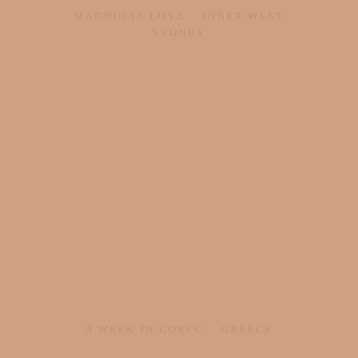MAGNOLIA LOVE   INNER WEST
SYDNEY
A WEEK IN CORFU   GREECE